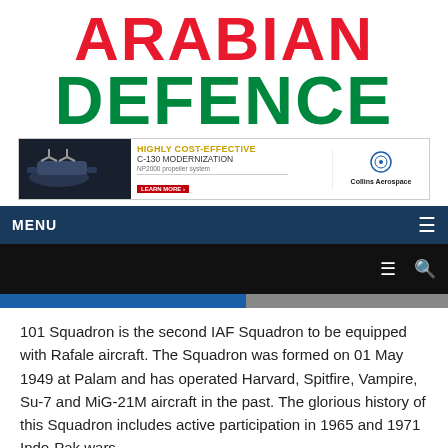ARABIAN DEFENCE
[Figure (screenshot): Collins Aerospace advertisement banner showing C-130 aircraft with text: HIGHLY COST-EFFECTIVE C-130 MODERNIZATION, NP2000 propeller system, Collins Aerospace logo, LEARN MORE button]
MENU
101 Squadron is the second IAF Squadron to be equipped with Rafale aircraft. The Squadron was formed on 01 May 1949 at Palam and has operated Harvard, Spitfire, Vampire, Su-7 and MiG-21M aircraft in the past. The glorious history of this Squadron includes active participation in 1965 and 1971 Indo-Pak wars.